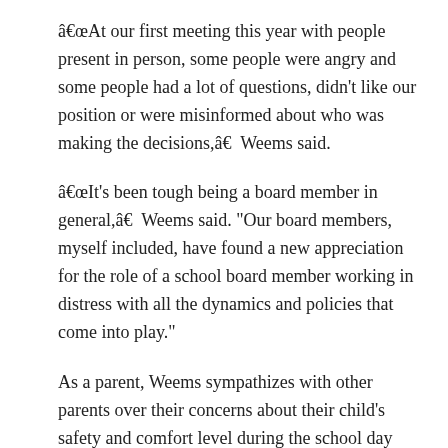“At our first meeting this year with people present in person, some people were angry and some people had a lot of questions, didn’t like our position or were misinformed about who was making the decisions,â€ Weems said.
“It’s been tough being a board member in general,â€ Weems said. “Our board members, myself included, have found a new appreciation for the role of a school board member working in distress with all the dynamics and policies that come into play.”
As a parent, Weems sympathizes with other parents over their concerns about their child’s safety and comfort level during the school day while being required to wear masks.
“As the elected leader charged with serving the district, I cannot take Google’s search for county, state and country advice, facts and data,â€ Weems said.